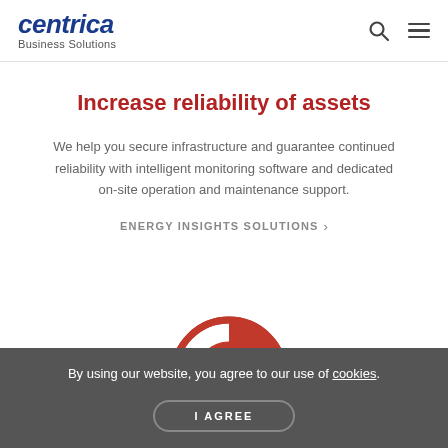centrica Business Solutions
Increase reliability of assets
We help you secure infrastructure and guarantee continued reliability with intelligent monitoring software and dedicated on-site operation and maintenance support.
ENERGY INSIGHTS SOLUTIONS >
[Figure (illustration): Partial view of a red lifesaver ring / lifebuoy icon]
By using our website, you agree to our use of cookies.
I AGREE